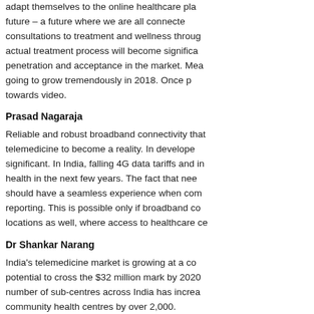adapt themselves to the online healthcare pla future – a future where we are all connected consultations to treatment and wellness through actual treatment process will become significa penetration and acceptance in the market. Mea going to grow tremendously in 2018. Once p towards video.
Prasad Nagaraja
Reliable and robust broadband connectivity that telemedicine to become a reality. In develope significant. In India, falling 4G data tariffs and in health in the next few years. The fact that nee should have a seamless experience when comp reporting. This is possible only if broadband co locations as well, where access to healthcare ce
Dr Shankar Narang
India's telemedicine market is growing at a co potential to cross the $32 million mark by 2020 number of sub-centres across India has increa community health centres by over 2,000.
Bruce Schwack